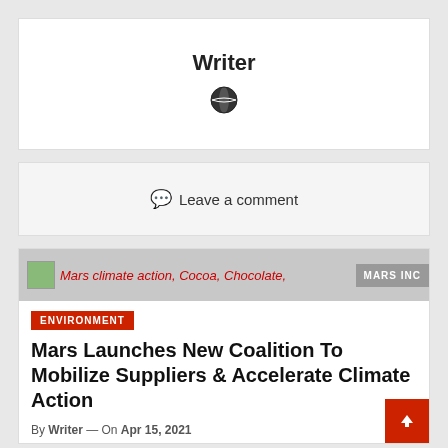Writer
[Figure (illustration): Globe/world icon]
Leave a comment
[Figure (photo): Mars climate action, Cocoa, Chocolate image with MARS INC badge]
ENVIRONMENT
Mars Launches New Coalition To Mobilize Suppliers & Accelerate Climate Action
By Writer — On Apr 15, 2021